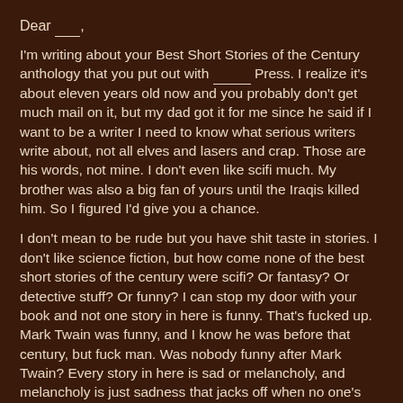Dear ____,
I'm writing about your Best Short Stories of the Century anthology that you put out with ______ Press. I realize it's about eleven years old now and you probably don't get much mail on it, but my dad got it for me since he said if I want to be a writer I need to know what serious writers write about, not all elves and lasers and crap. Those are his words, not mine. I don't even like scifi much. My brother was also a big fan of yours until the Iraqis killed him. So I figured I'd give you a chance.
I don't mean to be rude but you have shit taste in stories. I don't like science fiction, but how come none of the best short stories of the century were scifi? Or fantasy? Or detective stuff? Or funny? I can stop my door with your book and not one story in here is funny. That's fucked up. Mark Twain was funny, and I know he was before that century, but fuck man. Was nobody funny after Mark Twain? Every story in here is sad or melancholy, and melancholy is just sadness that jacks off when no one's looking. Those are my brother's words. He was very funny and he liked you. That's why I